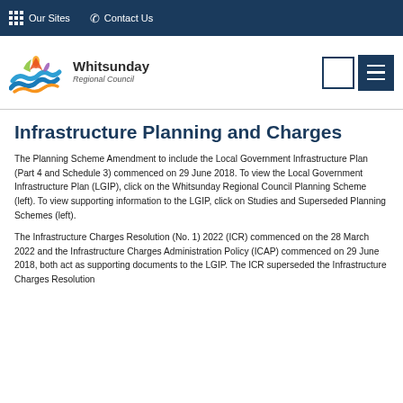Our Sites   Contact Us
[Figure (logo): Whitsunday Regional Council logo with colourful flame/wave graphic and italic text]
Infrastructure Planning and Charges
The Planning Scheme Amendment to include the Local Government Infrastructure Plan (Part 4 and Schedule 3) commenced on 29 June 2018. To view the Local Government Infrastructure Plan (LGIP), click on the Whitsunday Regional Council Planning Scheme (left). To view supporting information to the LGIP, click on Studies and Superseded Planning Schemes (left).
The Infrastructure Charges Resolution (No. 1) 2022 (ICR) commenced on the 28 March 2022 and the Infrastructure Charges Administration Policy (ICAP) commenced on 29 June 2018, both act as supporting documents to the LGIP. The ICR superseded the Infrastructure Charges Resolution